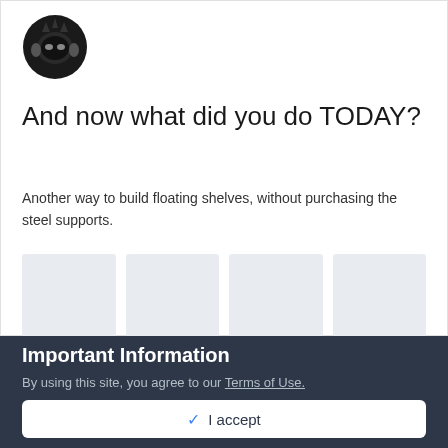[Figure (illustration): User avatar icon showing a dark helmet/character with headphones]
And now what did you do TODAY?
Another way to build floating shelves, without purchasing the steel supports.
[Figure (photo): Four light gray placeholder image thumbnails in a row]
August 2
15
Important Information
By using this site, you agree to our Terms of Use.
✓  I accept